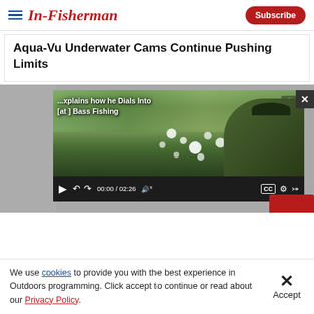In-Fisherman | Subscribe
Aqua-Vu Underwater Cams Continue Pushing Limits
[Figure (screenshot): Embedded video player showing a fishing scene outdoors. Overlay text reads '...xplains how he Dials Into [at ] Bass Fishing'. Video controls show 00:00 / 02:26. A close X button appears in the top right corner.]
We use cookies to provide you with the best experience in Outdoors programming. Click accept to continue or read about our Privacy Policy.